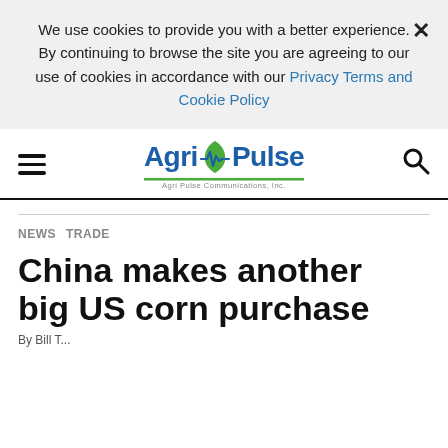We use cookies to provide you with a better experience. By continuing to browse the site you are agreeing to our use of cookies in accordance with our Privacy Terms and Cookie Policy
[Figure (logo): AgriPulse logo with leaf/pulse graphic and tagline 'Agri Pulse Communications, Inc.']
NEWS   TRADE
China makes another big US corn purchase
By Bill T...